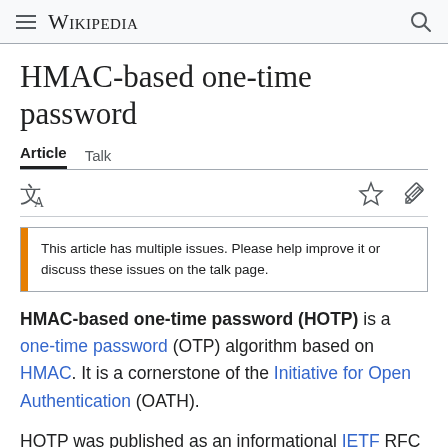Wikipedia
HMAC-based one-time password
Article  Talk
[Figure (other): Language, star, and edit icons row]
This article has multiple issues. Please help improve it or discuss these issues on the talk page.
HMAC-based one-time password (HOTP) is a one-time password (OTP) algorithm based on HMAC. It is a cornerstone of the Initiative for Open Authentication (OATH).
HOTP was published as an informational IETF RFC 4226 in December 2005, documenting the algorithm along with